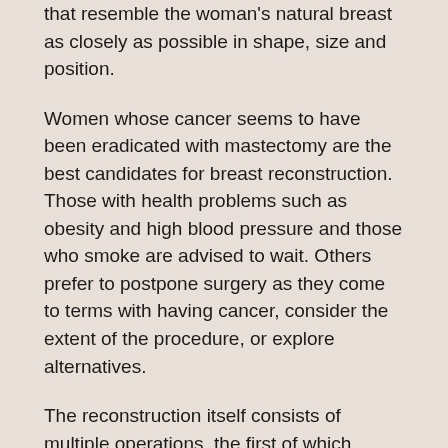that resemble the woman's natural breast as closely as possible in shape, size and position.
Women whose cancer seems to have been eradicated with mastectomy are the best candidates for breast reconstruction. Those with health problems such as obesity and high blood pressure and those who smoke are advised to wait. Others prefer to postpone surgery as they come to terms with having cancer, consider the extent of the procedure, or explore alternatives.
The reconstruction itself consists of multiple operations, the first of which involves creation of the breast mound and is performed during or after mastectomy in a hospital under general anesthesia. Later surgeries, if necessary, may be done in the hospital or an outpatient facility, with either general or local anesthesia.
There are several ways to reconstruct the breast, both with and without implants; your breast surgeon and plastic surgeon should work together with you in deciding which is best for you.